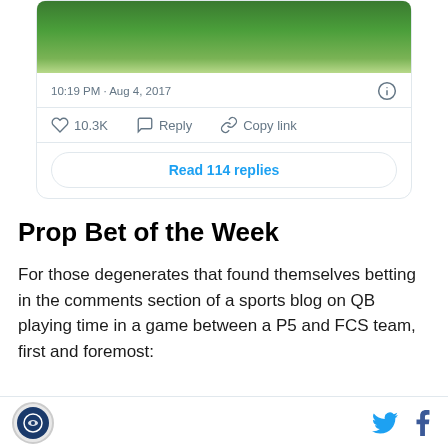[Figure (screenshot): Embedded tweet screenshot showing a green sports field image, timestamp '10:19 PM · Aug 4, 2017', like count 10.3K, Reply and Copy link actions, and a 'Read 114 replies' button]
Prop Bet of the Week
For those degenerates that found themselves betting in the comments section of a sports blog on QB playing time in a game between a P5 and FCS team, first and foremost: